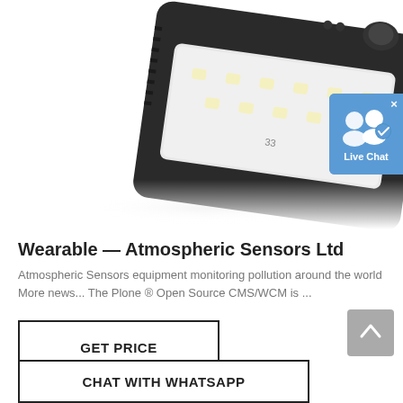[Figure (photo): A black solar-powered LED security light with motion sensor on top and a white LED panel, shown at an angle with a reflection below.]
[Figure (other): Live Chat badge — blue rounded rectangle with two user silhouette icons and a checkmark, labeled 'Live Chat' with an X close button.]
Wearable — Atmospheric Sensors Ltd
Atmospheric Sensors equipment monitoring pollution around the world More news... The Plone ® Open Source CMS/WCM is ...
GET PRICE
[Figure (other): Scroll-to-top button — grey rounded square with an upward chevron arrow.]
CHAT WITH WHATSAPP